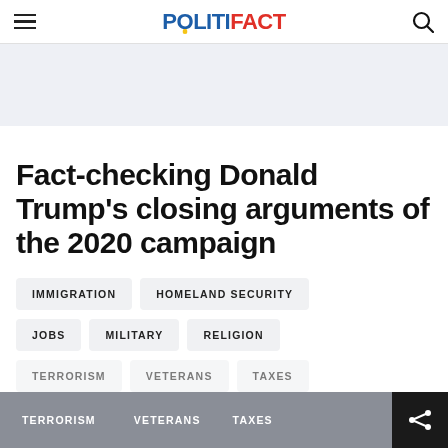POLITIFACT
Fact-checking Donald Trump’s closing arguments of the 2020 campaign
IMMIGRATION
HOMELAND SECURITY
JOBS
MILITARY
RELIGION
TERRORISM
VETERANS
TAXES